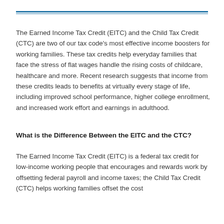The Earned Income Tax Credit (EITC) and the Child Tax Credit (CTC) are two of our tax code's most effective income boosters for working families. These tax credits help everyday families that face the stress of flat wages handle the rising costs of childcare, healthcare and more. Recent research suggests that income from these credits leads to benefits at virtually every stage of life, including improved school performance, higher college enrollment, and increased work effort and earnings in adulthood.
What is the Difference Between the EITC and the CTC?
The Earned Income Tax Credit (EITC) is a federal tax credit for low-income working people that encourages and rewards work by offsetting federal payroll and income taxes; the Child Tax Credit (CTC) helps working families offset the cost